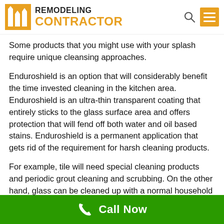[Figure (logo): Remodeling Contractor logo with orange building icon, black REMODELING text and orange CONTRACTOR text, search icon and orange hamburger menu button]
Some products that you might use with your splash require unique cleansing approaches.
Enduroshield is an option that will considerably benefit the time invested cleaning in the kitchen area. Enduroshield is an ultra-thin transparent coating that entirely sticks to the glass surface area and offers protection that will fend off both water and oil based stains. Enduroshield is a permanent application that gets rid of the requirement for harsh cleaning products.
For example, tile will need special cleaning products and periodic grout cleaning and scrubbing. On the other hand, glass can be cleaned up with a normal household glass cleaner and paper towels. There is no have to
Call Now